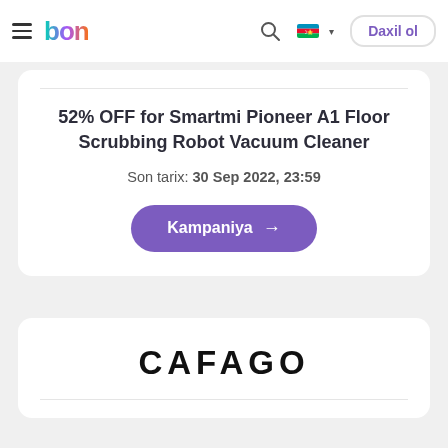bon — Daxil ol
52% OFF for Smartmi Pioneer A1 Floor Scrubbing Robot Vacuum Cleaner
Son tarix: 30 Sep 2022, 23:59
Kampaniya →
[Figure (logo): CAFAGO logo in bold black uppercase letters]